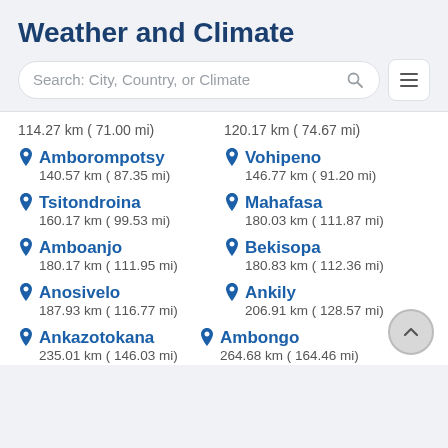Weather and Climate
[Figure (screenshot): Search bar with placeholder text 'Search: City, Country, or Climate' and a hamburger menu button]
114.27 km ( 71.00 mi)
120.17 km ( 74.67 mi)
Amborompotsy
140.57 km ( 87.35 mi)
Vohipeno
146.77 km ( 91.20 mi)
Tsitondroina
160.17 km ( 99.53 mi)
Mahafasa
180.03 km ( 111.87 mi)
Amboanjo
180.17 km ( 111.95 mi)
Bekisopa
180.83 km ( 112.36 mi)
Anosivelo
187.93 km ( 116.77 mi)
Ankily
206.91 km ( 128.57 mi)
Ankazotokana
235.01 km ( 146.03 mi)
Ambongo
264.68 km ( 164.46 mi)